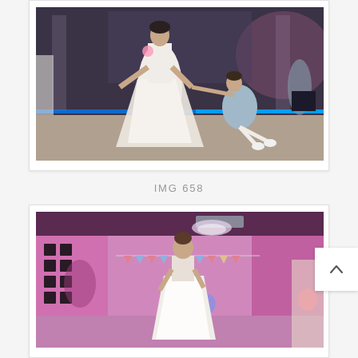[Figure (photo): Wedding or party photo: woman in white dress spinning a child in a blue/grey dress on a dance floor with blue LED lighting. Indoor venue with decorative columns and pink ambient lighting.]
IMG 658
[Figure (photo): Party/wedding reception photo: woman in white dress on a dance floor with pink/magenta ambient lighting, balloons, and bunting decorations in the background.]